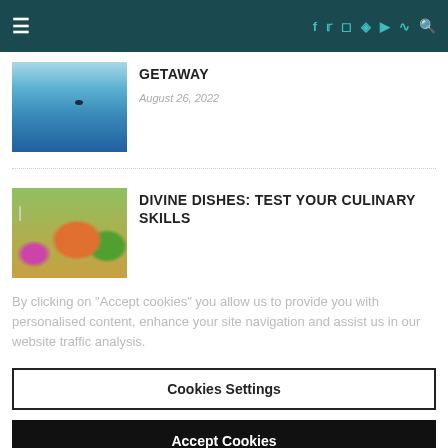Navigation bar with hamburger menu and social icons (Facebook, Twitter, Instagram, Pinterest, YouTube, RSS, Search)
GETAWAY
August 26, 2022
[Figure (photo): Aerial view of turquoise ocean water with a small boat or figure visible]
DIVINE DISHES: TEST YOUR CULINARY SKILLS
[Figure (photo): Colorful bowl of food with vegetables, flowers, and a fork on the side]
By clicking on “Accept cookies” you allow us to provide you with personalised content, enhance your site navigation and assist us in our website traffic analysis.
Cookies Settings
Accept Cookies